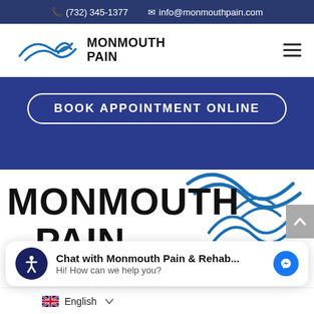(732) 345-1377  info@monmouthpain.com
[Figure (logo): Monmouth Pain logo with wave graphic in navigation bar]
[Figure (screenshot): BOOK APPOINTMENT ONLINE button on blue background banner]
[Figure (logo): Large Monmouth Pain logo with blue wave graphic]
Chat with Monmouth Pain & Rehab...  Hi! How can we help you?
English